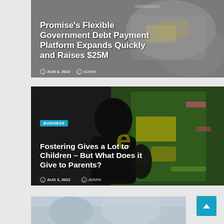[Figure (photo): Article card with photo of hands exchanging money/cash, overlaid with white text title and metadata]
Promise's Flexible Government Debt Payment Platform Expands Quickly and Raises $25M
AUG 8, 2022  ADMIN
[Figure (photo): Article card with dark silhouette of child/adult figure against colorful word cloud background with words like nurture, release, observe, care, friend]
BUSINESS
Fostering Gives a Lot to Children – But What Does it Give to Parents?
AUG 3, 2022  ADMIN
[Figure (photo): Partial view of third article card showing a person near a car, partially cropped]